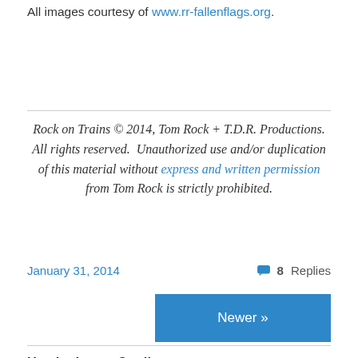All images courtesy of www.rr-fallenflags.org.
Rock on Trains © 2014, Tom Rock + T.D.R. Productions. All rights reserved. Unauthorized use and/or duplication of this material without express and written permission from Tom Rock is strictly prohibited.
January 31, 2014
8 Replies
Newer »
Header Image Credit